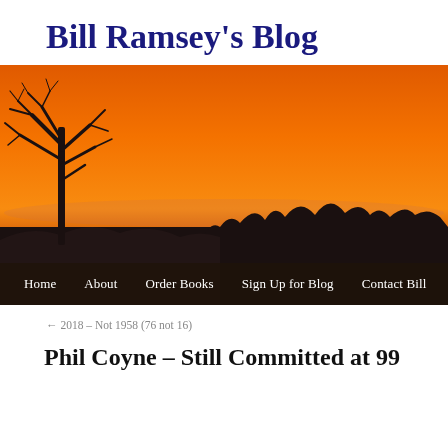Bill Ramsey's Blog
[Figure (photo): Sunset or sunrise landscape photo with a silhouetted bare tree on the left and a gradient orange-red sky over a dark treeline horizon. Navigation bar overlaid at the bottom with links: Home, About, Order Books, Sign Up for Blog, Contact Bill.]
← 2018 – Not 1958 (76 not 16)
Phil Coyne – Still Committed at 99